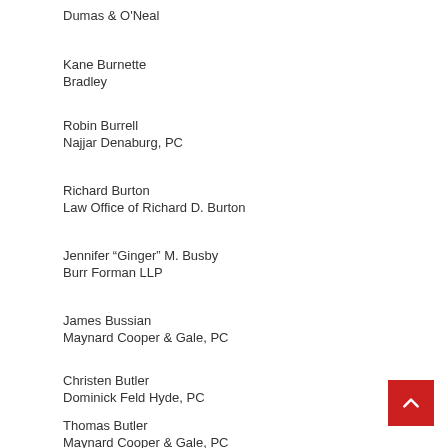Dumas & O'Neal
Kane Burnette
Bradley
Robin Burrell
Najjar Denaburg, PC
Richard Burton
Law Office of Richard D. Burton
Jennifer “Ginger” M. Busby
Burr Forman LLP
James Bussian
Maynard Cooper & Gale, PC
Christen Butler
Dominick Feld Hyde, PC
Thomas Butler
Maynard Cooper & Gale, PC